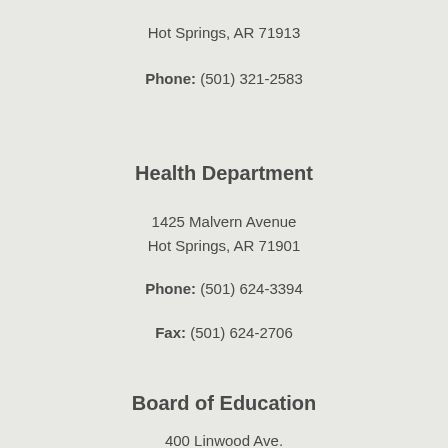Hot Springs, AR 71913
Phone: (501) 321-2583
Health Department
1425 Malvern Avenue
Hot Springs, AR 71901
Phone: (501) 624-3394
Fax: (501) 624-2706
Board of Education
400 Linwood Ave.